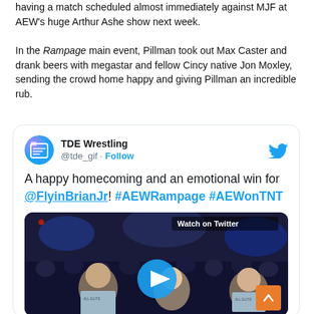having a match scheduled almost immediately against MJF at AEW's huge Arthur Ashe show next week.
In the Rampage main event, Pillman took out Max Caster and drank beers with megastar and fellow Cincy native Jon Moxley, sending the crowd home happy and giving Pillman an incredible rub.
[Figure (screenshot): Embedded tweet from @tde_gif (TDE Wrestling) with text: 'A happy homecoming and an emotional win for @FlyinBrianJr! #AEWRampage #AEWonTNT' and a video thumbnail showing a crowd at an AEW event with a play button overlay and 'Watch on Twitter' label. Twitter bird icon in top right. Follow button next to handle.]